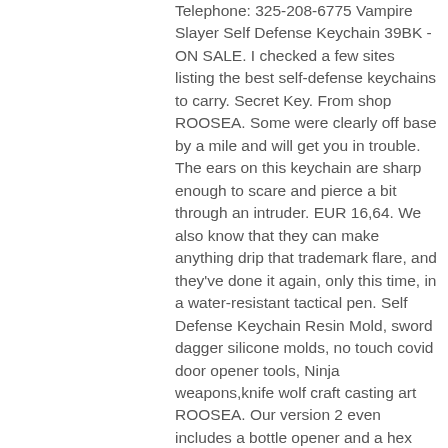Telephone: 325-208-6775 Vampire Slayer Self Defense Keychain 39BK - ON SALE. I checked a few sites listing the best self-defense keychains to carry. Secret Key. From shop ROOSEA. Some were clearly off base by a mile and will get you in trouble. The ears on this keychain are sharp enough to scare and pierce a bit through an intruder. EUR 16,64. We also know that they can make anything drip that trademark flare, and they've done it again, only this time, in a water-resistant tactical pen. Self Defense Keychain Resin Mold, sword dagger silicone molds, no touch covid door opener tools, Ninja weapons,knife wolf craft casting art ROOSEA. Our version 2 even includes a bottle opener and a hex wrench. Another clever self defense keychain is The SOG Key Knife Folding Knife—it's a small knife designed to mask like a key on your keyring. The Munio is a straight-forward choice for folks who want a tool that doesn't look like a tool. Please do your research on what items are not legal your state. Various self-defense keychains are available, and they come in … It is typically no more than 5.5 inches (14 centimetres) long and about half an inch (1.25 centimetres) in diameter, slightly thicker or the same size as a marker pen. It has a good ergonomic shape and advertises itself as being safer than pepper spray and tasers. Picking your self-defense items isn't just about thinking of what is best, it's considering the